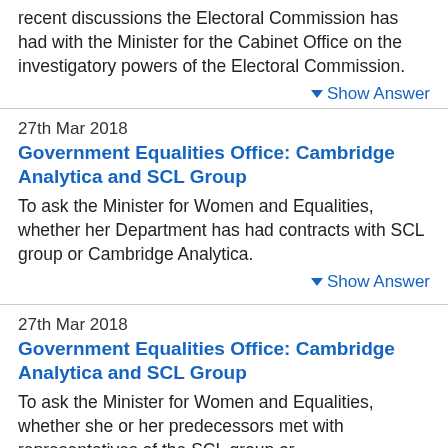recent discussions the Electoral Commission has had with the Minister for the Cabinet Office on the investigatory powers of the Electoral Commission.
▼ Show Answer
27th Mar 2018
Government Equalities Office: Cambridge Analytica and SCL Group
To ask the Minister for Women and Equalities, whether her Department has had contracts with SCL group or Cambridge Analytica.
▼ Show Answer
27th Mar 2018
Government Equalities Office: Cambridge Analytica and SCL Group
To ask the Minister for Women and Equalities, whether she or her predecessors met with representatives of the SCL group or